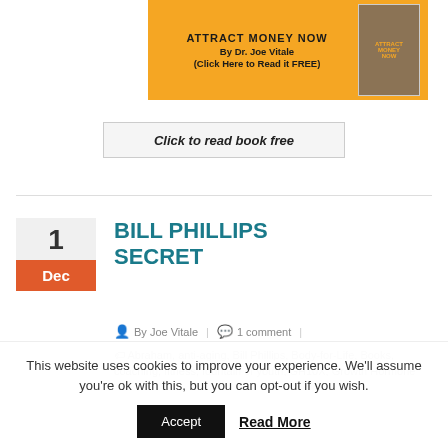[Figure (illustration): Orange banner advertisement for 'Attract Money Now' by Dr. Joe Vitale with book cover image on the right]
Click to read book free
BILL PHILLIPS SECRET
By Joe Vitale | 1 comment
Abraham, anti-aging, Bill Phillips, Body-for-Life, Books, coaching, fitness, fountain of youth, GH10X, Growth Hormone
This website uses cookies to improve your experience. We'll assume you're ok with this, but you can opt-out if you wish.
Accept  Read More